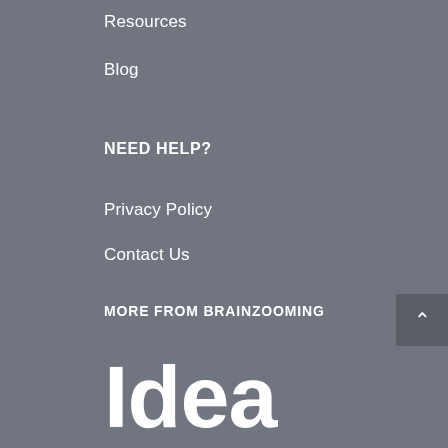Resources
Blog
NEED HELP?
Privacy Policy
Contact Us
MORE FROM BRAINZOOMING
Idea Magnets